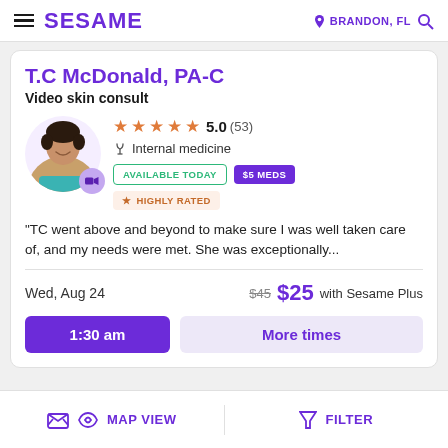SESAME | BRANDON, FL
T.C McDonald, PA-C
Video skin consult
[Figure (photo): Profile photo of T.C McDonald, PA-C, a smiling woman with short hair wearing teal scrubs, with a video camera badge overlay]
★★★★★ 5.0 (53) Internal medicine AVAILABLE TODAY $5 MEDS ★ HIGHLY RATED
"TC went above and beyond to make sure I was well taken care of, and my needs were met. She was exceptionally...
Wed, Aug 24   $45 $25 with Sesame Plus
1:30 am   More times
MAP VIEW   FILTER